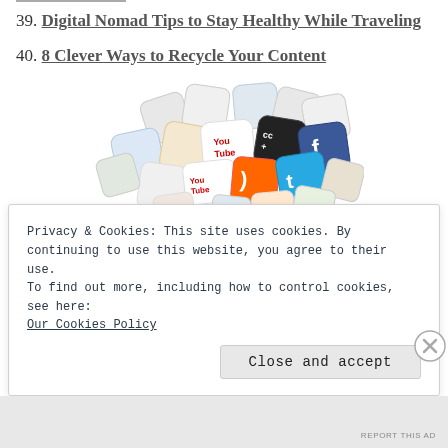39. Digital Nomad Tips to Stay Healthy While Traveling
40. 8 Clever Ways to Recycle Your Content
[Figure (illustration): A pile of 3D rendered social media app icon tiles including YouTube, Facebook, Twitter, RSS, and various other social network logos scattered in a heap.]
Privacy & Cookies: This site uses cookies. By continuing to use this website, you agree to their use.
To find out more, including how to control cookies, see here: Our Cookies Policy
Close and accept